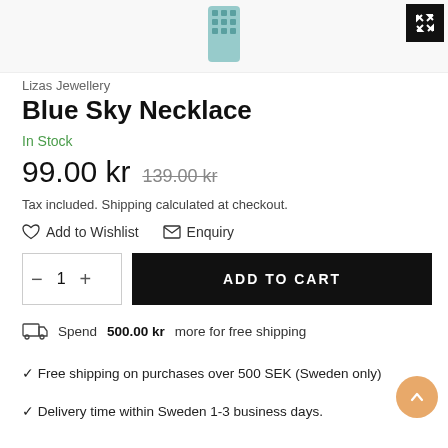[Figure (photo): Partial view of a blue/teal beaded necklace at the top of the page, with an expand/fullscreen button in the top-right corner]
Lizas Jewellery
Blue Sky Necklace
In Stock
99.00 kr  139.00 kr
Tax included. Shipping calculated at checkout.
Add to Wishlist   Enquiry
— 1 +   ADD TO CART
Spend 500.00 kr more for free shipping
✓ Free shipping on purchases over 500 SEK (Sweden only)
✓ Delivery time within Sweden 1-3 business days.